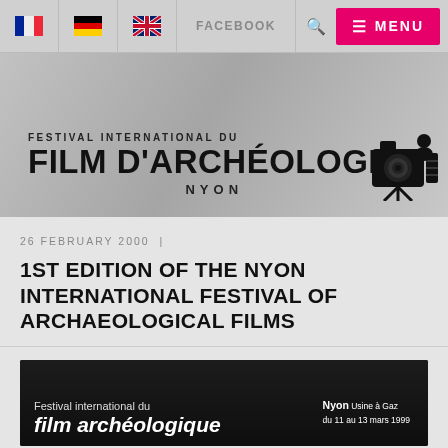FACEBOOK | MENU
FESTIVAL INTERNATIONAL DU FILM D'ARCHÉOLOGIE NYON
26 FEBRUARY 2000 |
1ST EDITION OF THE NYON INTERNATIONAL FESTIVAL OF ARCHAEOLOGICAL FILMS
[Figure (photo): Black background with white text showing 'Festival international du film archéologique' with 'Nyon Usine à Gaz du 11 au 13 mars 1999']